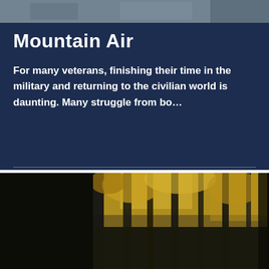[Figure (photo): Top strip of a photo, appears to be an outdoor/nature scene]
Mountain Air
For many veterans, finishing their time in the military and returning to the civilian world is daunting. Many struggle from bo…
[Figure (photo): Forest scene with autumn yellow and orange trees, with large white bold text overlay reading 'BE BOLD']